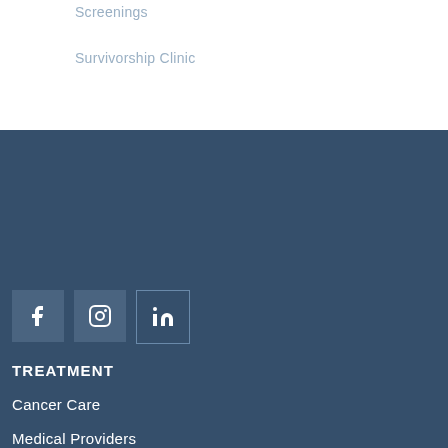Screenings
Survivorship Clinic
[Figure (other): Social media icons: Facebook, Instagram, LinkedIn]
TREATMENT
Cancer Care
Medical Providers
Non-Cancerous (Benign) Diseases
Radiation Technology
PATIENT CARE